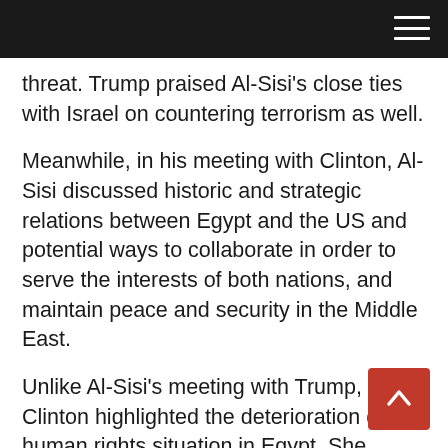threat. Trump praised Al-Sisi's close ties with Israel on countering terrorism as well.
Meanwhile, in his meeting with Clinton, Al-Sisi discussed historic and strategic relations between Egypt and the US and potential ways to collaborate in order to serve the interests of both nations, and maintain peace and security in the Middle East.
Unlike Al-Sisi's meeting with Trump, Clinton highlighted the deterioration of the human rights situation in Egypt. She called on Al-Sisi to release US citizen Aya Hegazy, who has been detained in Egypt for over two years on